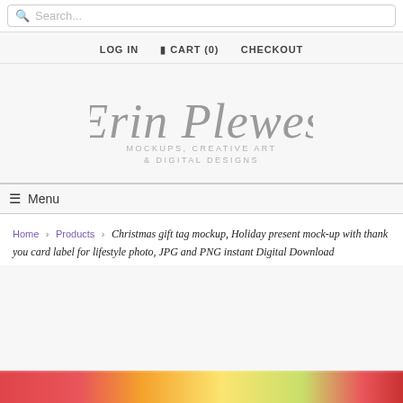Search...
LOG IN   CART (0)   CHECKOUT
[Figure (logo): Erin Plewes logo in cursive script with subtitle MOCKUPS, CREATIVE ART & DIGITAL DESIGNS]
Menu
Home > Products > Christmas gift tag mockup, Holiday present mock-up with thank you card label for lifestyle photo, JPG and PNG instant Digital Download
[Figure (photo): Partial view of Christmas gift wrapping with colorful ribbons and tags at the bottom of the page]